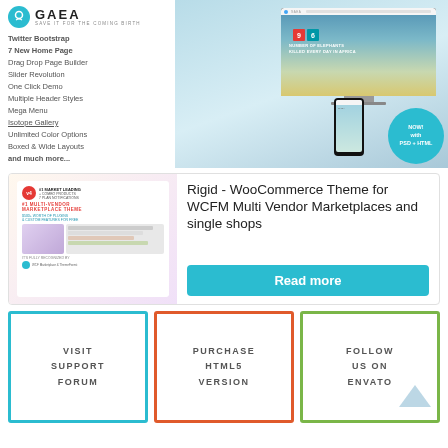[Figure (screenshot): GAEA theme logo and feature list on left, desktop/mobile screenshot on right showing elephant conservation website]
Twitter Bootstrap
7 New Home Page
Drag Drop Page Builder
Slider Revolution
One Click Demo
Multiple Header Styles
Mega Menu
Isotope Gallery
Unlimited Color Options
Boxed & Wide Layouts
and much more...
[Figure (screenshot): Rigid WooCommerce theme thumbnail showing multi-vendor marketplace UI]
Rigid - WooCommerce Theme for WCFM Multi Vendor Marketplaces and single shops
Read more
VISIT SUPPORT FORUM
PURCHASE HTML5 VERSION
FOLLOW US ON ENVATO